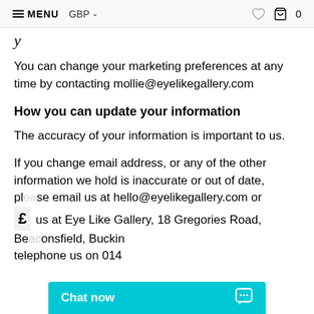MENU  GBP  0
y
You can change your marketing preferences at any time by contacting mollie@eyelikegallery.com
How you can update your information
The accuracy of your information is important to us.
If you change email address, or any of the other information we hold is inaccurate or out of date, please email us at hello@eyelikegallery.com or write to us at Eye Like Gallery, 18 Gregories Road, Beaconsfield, Buckinghamshire or telephone us on 014...